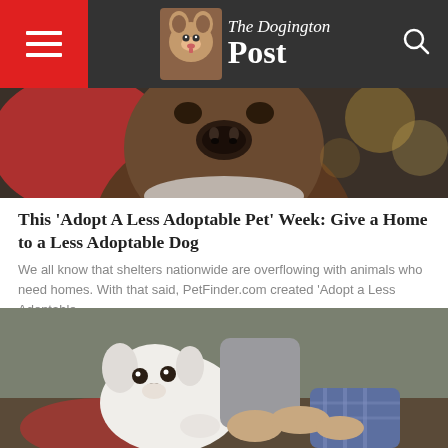The Dogington Post
[Figure (photo): Close-up of a brown dog's face looking at the camera against a red background with blurred bokeh]
This 'Adopt A Less Adoptable Pet' Week: Give a Home to a Less Adoptable Dog
We all know that shelters nationwide are overflowing with animals who need homes. With that said, PetFinder.com created 'Adopt a Less Adoptable...
[Figure (photo): A white puppy being pet by two people's hands indoors]